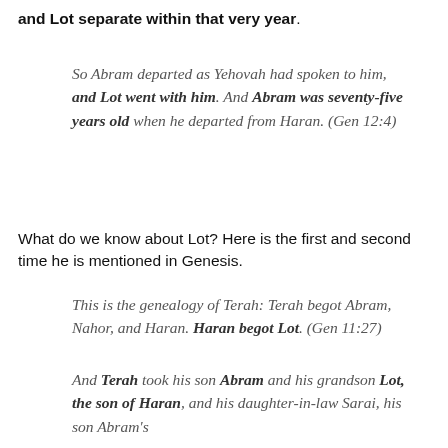and Lot separate within that very year.
So Abram departed as Yehovah had spoken to him, and Lot went with him. And Abram was seventy-five years old when he departed from Haran. (Gen 12:4)
What do we know about Lot? Here is the first and second time he is mentioned in Genesis.
This is the genealogy of Terah: Terah begot Abram, Nahor, and Haran. Haran begot Lot. (Gen 11:27)
And Terah took his son Abram and his grandson Lot, the son of Haran, and his daughter-in-law Sarai, his son Abram's